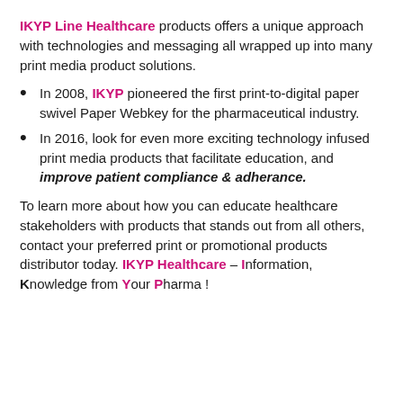IKYP Line Healthcare products offers a unique approach with technologies and messaging all wrapped up into many print media product solutions.
In 2008, IKYP pioneered the first print-to-digital paper swivel Paper Webkey for the pharmaceutical industry.
In 2016, look for even more exciting technology infused print media products that facilitate education, and improve patient compliance & adherance.
To learn more about how you can educate healthcare stakeholders with products that stands out from all others, contact your preferred print or promotional products distributor today. IKYP Healthcare – Information, Knowledge from Your Pharma !